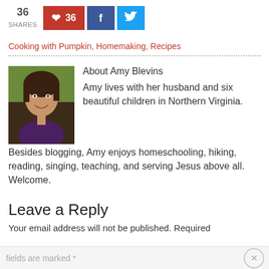[Figure (infographic): Social share bar showing 36 shares: Pinterest button with 36 count (red), Facebook button (dark blue), Twitter button (light blue)]
Cooking with Pumpkin, Homemaking, Recipes
[Figure (photo): Portrait photo of Amy Blevins, a woman with dark hair, smiling, outdoors background]
About Amy Blevins
Amy lives with her husband and six beautiful children in Northern Virginia. Besides blogging, Amy enjoys homeschooling, hiking, reading, singing, teaching, and serving Jesus above all. Welcome.
Leave a Reply
Your email address will not be published. Required fields are marked *